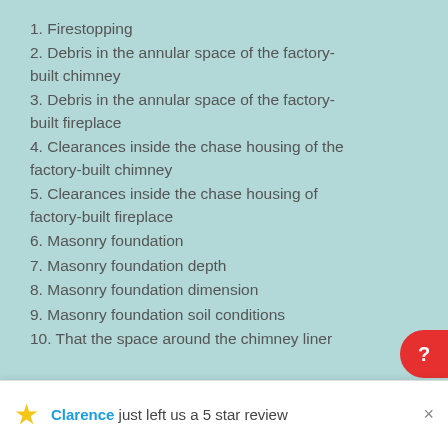1. Firestopping
2. Debris in the annular space of the factory-built chimney
3. Debris in the annular space of the factory-built fireplace
4. Clearances inside the chase housing of the factory-built chimney
5. Clearances inside the chase housing of factory-built fireplace
6. Masonry foundation
7. Masonry foundation depth
8. Masonry foundation dimension
9. Masonry foundation soil conditions
10. That the space around the chimney liner
Clarence just left us a 5 star review